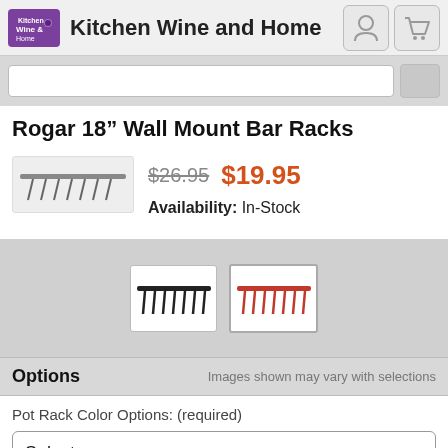Kitchen Wine and Home
Rogar 18” Wall Mount Bar Racks
$26.95  $19.95
Availability: In-Stock
[Figure (photo): Two product variant thumbnail images of Rogar 18" Wall Mount Bar Racks - one black, one red]
Options
Images shown may vary with selections
Pot Rack Color Options: (required)
Select